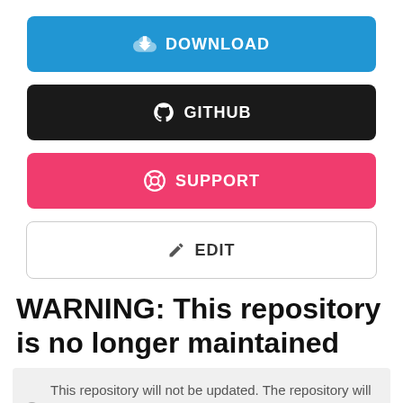[Figure (other): Blue DOWNLOAD button with cloud/download icon]
[Figure (other): Black GITHUB button with GitHub Octocat icon]
[Figure (other): Pink/red SUPPORT button with life ring icon]
[Figure (other): White EDIT button with pencil icon]
WARNING: This repository is no longer maintained
This repository will not be updated. The repository will be kept available in read-only mode.